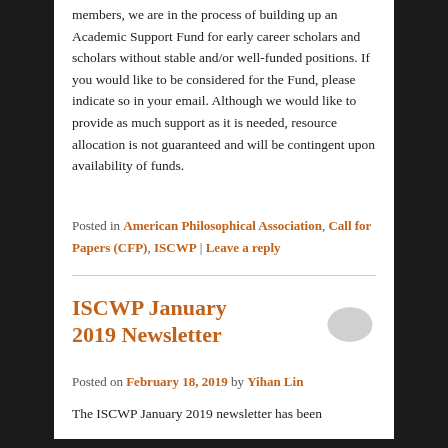members, we are in the process of building up an Academic Support Fund for early career scholars and scholars without stable and/or well-funded positions. If you would like to be considered for the Fund, please indicate so in your email. Although we would like to provide as much support as it is needed, resource allocation is not guaranteed and will be contingent upon availability of funds.
Posted in American Philosophical Association, Call for Papers (CFP), ISCWP | Leave a reply
ISCWP January 2019 Newsletter
Posted on February 18, 2019 by Yihan Lin
The ISCWP January 2019 newsletter has been